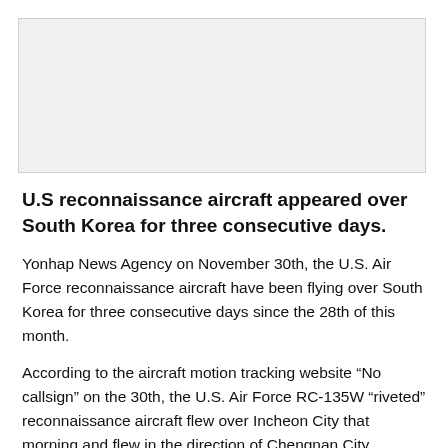[Figure (other): Gray image placeholder area at the top of the article]
U.S reconnaissance aircraft appeared over South Korea for three consecutive days.
Yonhap News Agency on November 30th, the U.S. Air Force reconnaissance aircraft have been flying over South Korea for three consecutive days since the 28th of this month.
According to the aircraft motion tracking website “No callsign” on the 30th, the U.S. Air Force RC-135W “riveted” reconnaissance aircraft flew over Incheon City that morning and flew in the direction of Chengnan City, Gyeonggi Province.